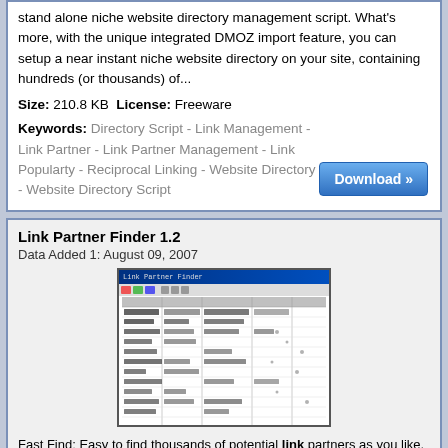stand alone niche website directory management script. What's more, with the unique integrated DMOZ import feature, you can setup a near instant niche website directory on your site, containing hundreds (or thousands) of...
Size: 210.8 KB License: Freeware
Keywords: Directory Script - Link Management - Link Partner - Link Partner Management - Link Popularty - Reciprocal Linking - Website Directory - Website Directory Script
Link Partner Finder 1.2
Data Added 1: August 09, 2007
[Figure (screenshot): Screenshot of Link Partner Finder 1.2 application window showing a data grid with multiple columns of text data]
Fast Find: Easy to find thousands of potential link partners as you like. Direct Add Link Pages: All the link pages found are direct add link page, that you can add your link directly. Such as www.a.com/addurl.html, www.b.com/add-link.html, www.c.com/submit-link.php Only Relevant links: All the links are relevant to your website's keyword or topic. PageRank Analysis: Easy to check the PageRank of every direct add link page that help you find more value link partners. Size: 390.6 KB License: Shareware Price: $39.95
Keywords: Add Link - Add Url - Exchange Link -